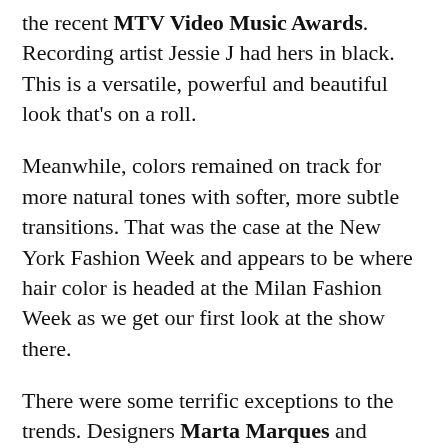the recent MTV Video Music Awards. Recording artist Jessie J had hers in black. This is a versatile, powerful and beautiful look that's on a roll.
Meanwhile, colors remained on track for more natural tones with softer, more subtle transitions. That was the case at the New York Fashion Week and appears to be where hair color is headed at the Milan Fashion Week as we get our first look at the show there.
There were some terrific exceptions to the trends. Designers Marta Marques and Paulo Almeida at the London Fashion Week paired their aggressive clothing lines with some big, blown-out manes of beautiful long hair full of messy curls for a wonderfully primal look to go with their sheer and shredded fabrics and geometric di...